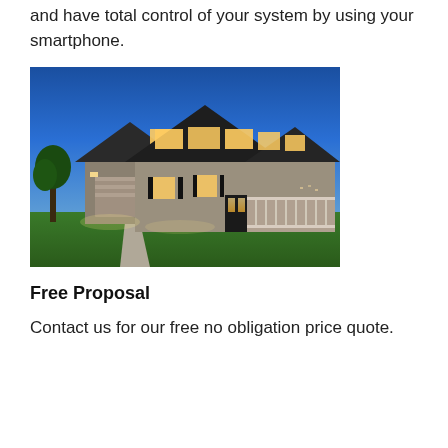where you are in the world you can view and have total control of your system by using your smartphone.
[Figure (photo): Two-story suburban house photographed at dusk/twilight with lights on inside, lush green lawn in foreground, deep blue sky background.]
Free Proposal
Contact us for our free no obligation price quote.